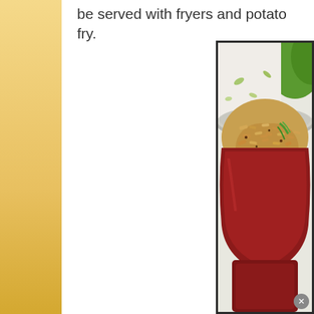be served with fryers and potato fry.
[Figure (photo): A metal bowl (tiffin/kadai) filled with golden-brown fried rice garnished with green onions, placed on a decorative cloth with floral print. Background shows green leaves/fruit. The bowl sits on a red base.]